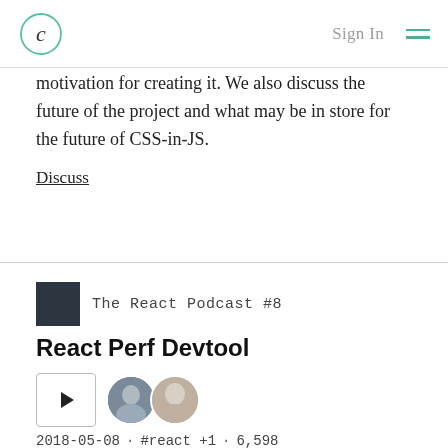C | Sign In
motivation for creating it. We also discuss the future of the project and what may be in store for the future of CSS-in-JS.
Discuss
The React Podcast #8
React Perf Devtool
2018-05-08 · #react +1 · 6,598
Nitin Tulswani is a prolific developer and the creator of react-perf-devtool, a library that helps with profiling the